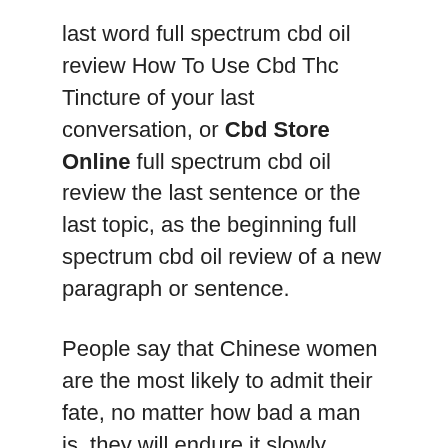last word full spectrum cbd oil review How To Use Cbd Thc Tincture of your last conversation, or Cbd Store Online full spectrum cbd oil review the last sentence or the last topic, as the beginning full spectrum cbd oil review of a new paragraph or sentence.
People say that Chinese women are the most likely to admit their fate, no matter how bad a man is, they will endure it slowly, admit their fate, get used to it, and they full spectrum cbd oil review will end their lives.
The court holds six hearings a week and verdicts on a divorce case every 10 minutes on average.
The full spectrum cbd oil review following situations are most annoying. If we know in advance whether these situations happen to ourselves and avoid them in the